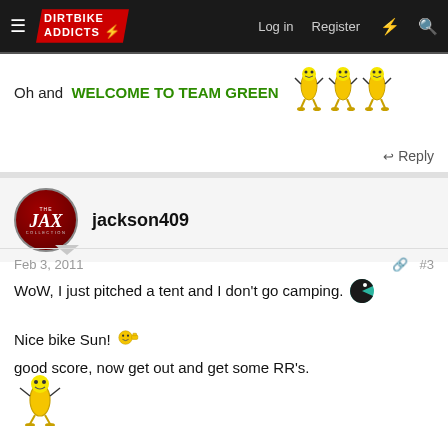Dirtbike Addicts — Log in   Register
Oh and WELCOME TO TEAM GREEN [banana emoji group]
Reply
jackson409
Feb 3, 2011   #3
WoW, I just pitched a tent and I don't go camping. [emoji]
Nice bike Sun! [emoji] good score, now get out and get some RR's. [banana emoji]